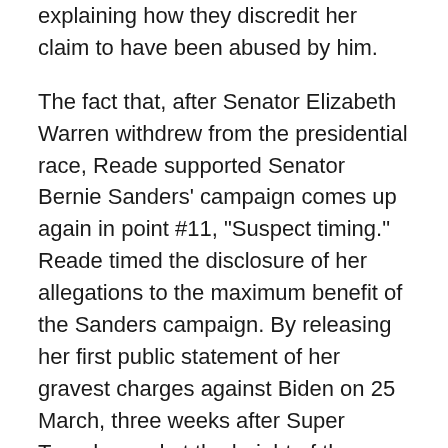explaining how they discredit her claim to have been abused by him.
The fact that, after Senator Elizabeth Warren withdrew from the presidential race, Reade supported Senator Bernie Sanders’ campaign comes up again in point #11, “Suspect timing.” Reade timed the disclosure of her allegations to the maximum benefit of the Sanders campaign. By releasing her first public statement of her gravest charges against Biden on 25 March, three weeks after Super Tuesday and at the height of the public confusion surrounding Coronavirus, Reade ensured that they would not receive widespread attention until Sanders had withdrawn from the race and was trying to craft an endorsement of Biden that would deliver as many of his supporters as possible to the former vice president. Clearly, this was a gift to the Vermont senator.